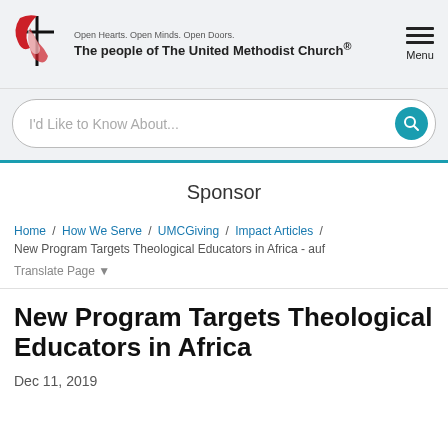[Figure (logo): United Methodist Church logo with cross and flame, red and white]
Open Hearts. Open Minds. Open Doors.
The people of The United Methodist Church®
I'd Like to Know About...
Sponsor
Home / How We Serve / UMCGiving / Impact Articles / New Program Targets Theological Educators in Africa - auf
Translate Page ▼
New Program Targets Theological Educators in Africa
Dec 11, 2019